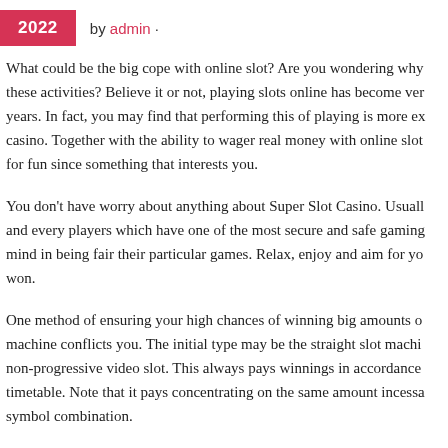2022 by admin ·
What could be the big cope with online slot? Are you wondering why these activities? Believe it or not, playing slots online has become very years. In fact, you may find that performing this of playing is more ex casino. Together with the ability to wager real money with online slot for fun since something that interests you.
You don't have worry about anything about Super Slot Casino. Usually and every players which have one of the most secure and safe gaming mind in being fair their particular games. Relax, enjoy and aim for yo won.
One method of ensuring your high chances of winning big amounts o machine conflicts you. The initial type may be the straight slot machi non-progressive video slot. This always pays winnings in accordance timetable. Note that it pays concentrating on the same amount incessa symbol combination.